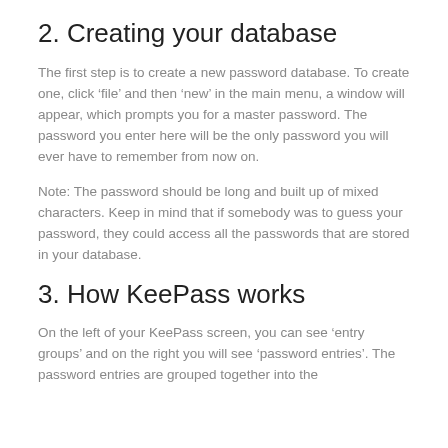2. Creating your database
The first step is to create a new password database. To create one, click ‘file’ and then ‘new’ in the main menu, a window will appear, which prompts you for a master password. The password you enter here will be the only password you will ever have to remember from now on.
Note: The password should be long and built up of mixed characters. Keep in mind that if somebody was to guess your password, they could access all the passwords that are stored in your database.
3. How KeePass works
On the left of your KeePass screen, you can see ‘entry groups’ and on the right you will see ‘password entries’. The password entries are grouped together into the